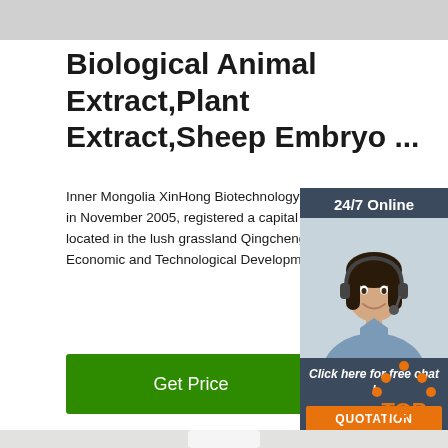[Figure (photo): Top gray decorative bar]
Biological Animal Extract,Plant Extract,Sheep Embryo ...
Inner Mongolia XinHong Biotechnology Co., Ltd. in November 2005, registered a capital of 5 millio located in the lush grassland Qingcheng Hohhot Economic and Technological Development Zone
[Figure (photo): Get Price green button]
[Figure (photo): 24/7 Online chat panel with agent photo, Click here for free chat! and QUOTATION button]
[Figure (photo): Product bottle photograph on light gray background]
[Figure (logo): TOP badge with orange house/arrow icon and orange text TOP]